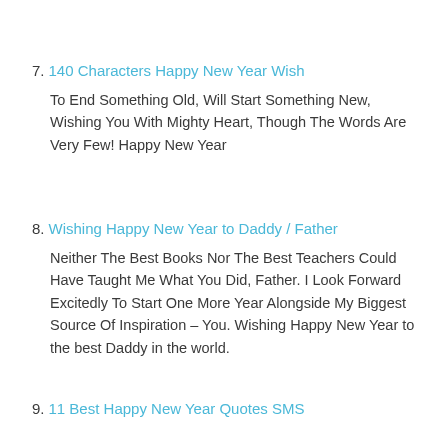7. 140 Characters Happy New Year Wish
To End Something Old, Will Start Something New, Wishing You With Mighty Heart, Though The Words Are Very Few! Happy New Year
8. Wishing Happy New Year to Daddy / Father
Neither The Best Books Nor The Best Teachers Could Have Taught Me What You Did, Father. I Look Forward Excitedly To Start One More Year Alongside My Biggest Source Of Inspiration – You. Wishing Happy New Year to the best Daddy in the world.
9. 11 Best Happy New Year Quotes SMS